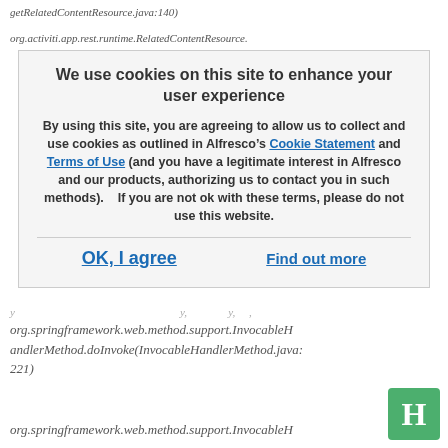getRelatedContentResource.java:140)
org.activiti.app.rest.runtime.RelatedContentResource.
We use cookies on this site to enhance your user experience

By using this site, you are agreeing to allow us to collect and use cookies as outlined in Alfresco’s Cookie Statement and Terms of Use (and you have a legitimate interest in Alfresco and our products, authorizing us to contact you in such methods).   If you are not ok with these terms, please do not use this website.

OK, I agree    Find out more
org.springframework.web.method.support.InvocableHandlerMethod.doInvoke(InvocableHandlerMethod.java:221)
org.springframework.web.method.support.InvocableH